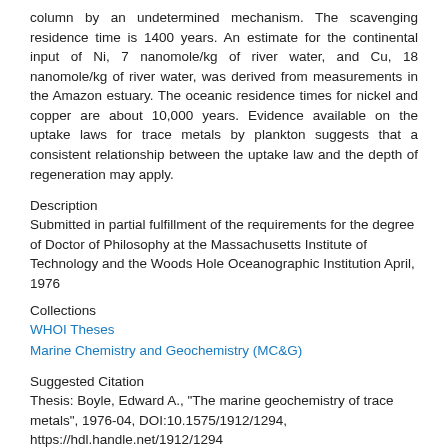column by an undetermined mechanism. The scavenging residence time is 1400 years. An estimate for the continental input of Ni, 7 nanomole/kg of river water, and Cu, 18 nanomole/kg of river water, was derived from measurements in the Amazon estuary. The oceanic residence times for nickel and copper are about 10,000 years. Evidence available on the uptake laws for trace metals by plankton suggests that a consistent relationship between the uptake law and the depth of regeneration may apply.
Description
Submitted in partial fulfillment of the requirements for the degree of Doctor of Philosophy at the Massachusetts Institute of Technology and the Woods Hole Oceanographic Institution April, 1976
Collections
WHOI Theses
Marine Chemistry and Geochemistry (MC&G)
Suggested Citation
Thesis: Boyle, Edward A., "The marine geochemistry of trace metals", 1976-04, DOI:10.1575/1912/1294, https://hdl.handle.net/1912/1294